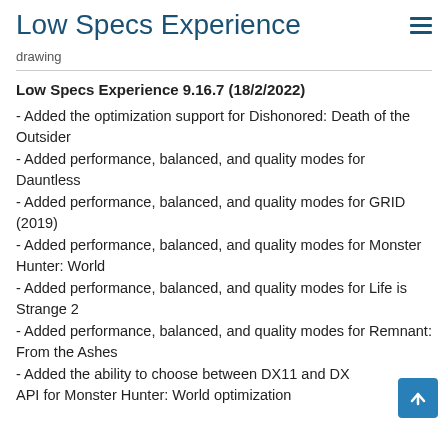Low Specs Experience
drawing
Low Specs Experience 9.16.7 (18/2/2022)
- Added the optimization support for Dishonored: Death of the Outsider
- Added performance, balanced, and quality modes for Dauntless
- Added performance, balanced, and quality modes for GRID (2019)
- Added performance, balanced, and quality modes for Monster Hunter: World
- Added performance, balanced, and quality modes for Life is Strange 2
- Added performance, balanced, and quality modes for Remnant: From the Ashes
- Added the ability to choose between DX11 and DX API for Monster Hunter: World optimization